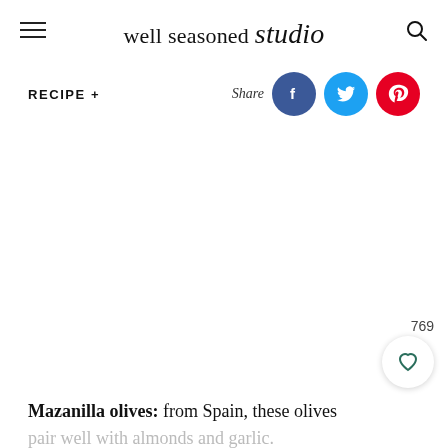well seasoned studio
RECIPE +
[Figure (infographic): Share buttons: Facebook (blue circle with f), Twitter (light blue circle with bird), Pinterest (red circle with P)]
[Figure (photo): Large image placeholder area (recipe photo, not visible in cropped page)]
769
[Figure (infographic): Heart/like button circle icon]
Mazanilla olives: from Spain, these olives pair well with almonds and garlic.